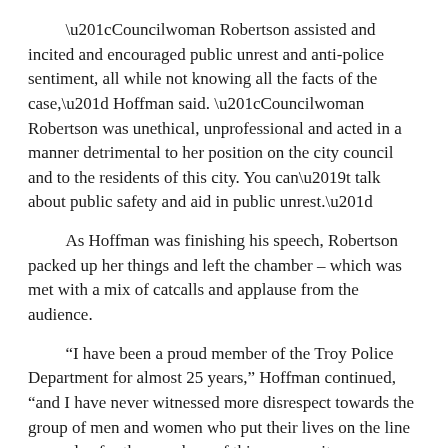“Councilwoman Robertson assisted and incited and encouraged public unrest and anti-police sentiment, all while not knowing all the facts of the case,” Hoffman said. “Councilwoman Robertson was unethical, unprofessional and acted in a manner detrimental to her position on the city council and to the residents of this city. You can’t talk about public safety and aid in public unrest.”
As Hoffman was finishing his speech, Robertson packed up her things and left the chamber – which was met with a mix of catcalls and applause from the audience.
“I have been a proud member of the Troy Police Department for almost 25 years,” Hoffman continued, “and I have never witnessed more disrespect towards the group of men and women who put their lives on the line every day for the members of this community.
Unlike Councilwoman Robertson, members of the Troy Police Department do not see black and white.”
Earlier this week, many residents were upset with Robertson’s comments that included spelling America, “AmeriKKKa” and for stating that there is a concerted effort by whites to exterminate